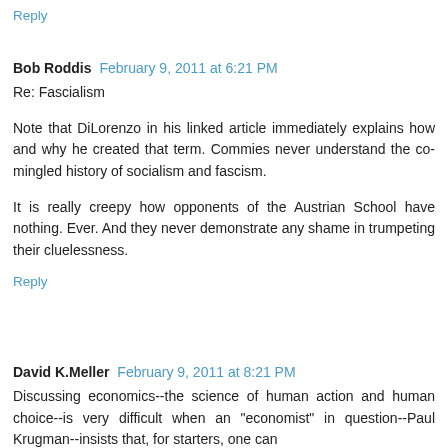Reply
Bob Roddis  February 9, 2011 at 6:21 PM
Re: Fascialism

Note that DiLorenzo in his linked article immediately explains how and why he created that term. Commies never understand the co-mingled history of socialism and fascism.

It is really creepy how opponents of the Austrian School have nothing. Ever. And they never demonstrate any shame in trumpeting their cluelessness.
Reply
David K.Meller  February 9, 2011 at 8:21 PM
Discussing economics--the science of human action and human choice--is very difficult when an "economist" in question--Paul Krugman--insists that, for starters, one can